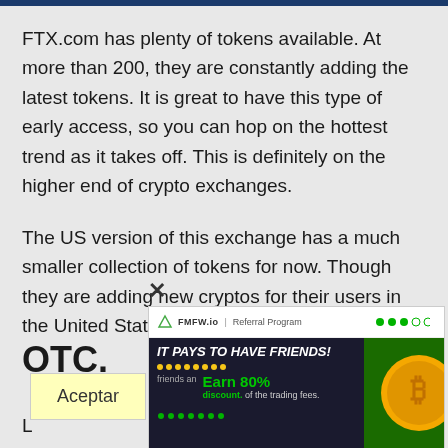FTX.com has plenty of tokens available. At more than 200, they are constantly adding the latest tokens. It is great to have this type of early access, so you can hop on the hottest trend as it takes off. This is definitely on the higher end of crypto exchanges.
The US version of this exchange has a much smaller collection of tokens for now. Though they are adding new cryptos for their users in the United States as well.
[Figure (screenshot): Advertisement popup overlay from FMFW.io showing a referral program: 'IT PAYS TO HAVE FRIENDS!' with text about earning 80% discount of the trading fees, with a Bitcoin coin graphic on a dark background. An X close button appears above the ad. A yellow 'Aceptar' button appears at the bottom.]
OTC
L... of a